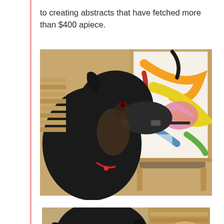to creating abstracts that have fetched more than $400 apiece.
[Figure (photo): A black dog holding a paintbrush in its mouth, painting a colorful abstract artwork on a canvas mounted on an easel]
[Figure (photo): Close-up of a black dog's face looking at the camera, with art supplies visible in the background]